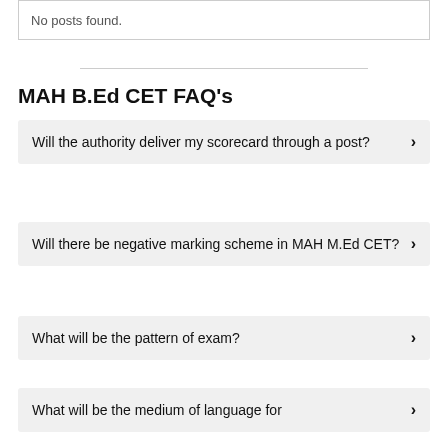No posts found.
MAH B.Ed CET FAQ's
Will the authority deliver my scorecard through a post?
Will there be negative marking scheme in MAH M.Ed CET?
What will be the pattern of exam?
What will be the medium of language for